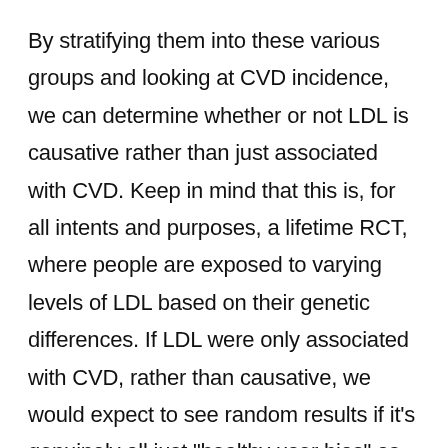By stratifying them into these various groups and looking at CVD incidence, we can determine whether or not LDL is causative rather than just associated with CVD. Keep in mind that this is, for all intents and purposes, a lifetime RCT, where people are exposed to varying levels of LDL based on their genetic differences. If LDL were only associated with CVD, rather than causative, we would expect to see random results if it’s genuinely all just “healthy user bias” as Paul claimed due to the natural randomization.
What we find is that in virtually ALL MR studies is a linear relationship between blood LDL levels and CVD